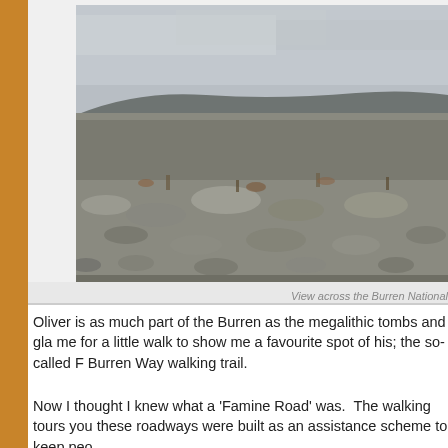[Figure (photo): Landscape photograph showing a rocky limestone pavement terrain of the Burren National Park under an overcast grey sky, with hills visible in the distant background.]
View across the Burren National
Oliver is as much part of the Burren as the megalithic tombs and gla me for a little walk to show me a favourite spot of his; the so-called F Burren Way walking trail.
Now I thought I knew what a 'Famine Road' was.  The walking tours you these roadways were built as an assistance scheme to keep peo